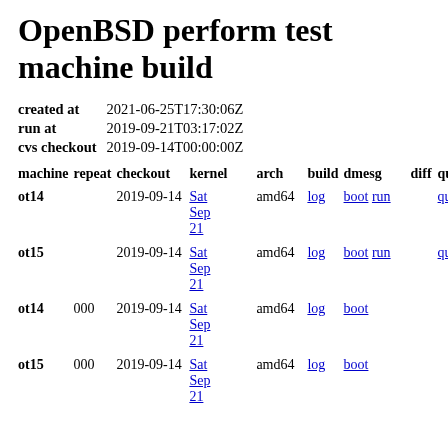OpenBSD perform test machine build
|  |  |
| --- | --- |
| created at | 2021-06-25T17:30:06Z |
| run at | 2019-09-21T03:17:02Z |
| cvs checkout | 2019-09-14T00:00:00Z |
| machine | repeat | checkout | kernel | arch | build | dmesg | diff | quirks |
| --- | --- | --- | --- | --- | --- | --- | --- | --- |
| ot14 |  | 2019-09-14 | Sat Sep 21 | amd64 | log | boot run |  | quirks |
| ot15 |  | 2019-09-14 | Sat Sep 21 | amd64 | log | boot run |  | quirks |
| ot14 | 000 | 2019-09-14 | Sat Sep 21 | amd64 | log | boot |  |  |
| ot15 | 000 | 2019-09-14 | Sat Sep 21 | amd64 | log | boot |  |  |